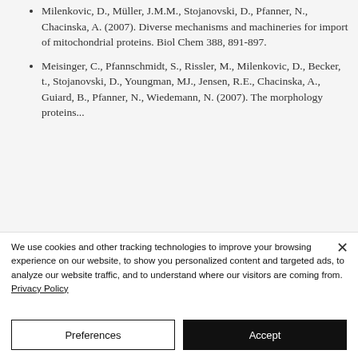Milenkovic, D., Müller, J.M.M., Stojanovski, D., Pfanner, N., Chacinska, A. (2007). Diverse mechanisms and machineries for import of mitochondrial proteins. Biol Chem 388, 891-897.
Meisinger, C., Pfannschmidt, S., Rissler, M., Milenkovic, D., Becker, t., Stojanovski, D., Youngman, MJ., Jensen, R.E., Chacinska, A., Guiard, B., Pfanner, N., Wiedemann, N. (2007). The morphology proteins...
We use cookies and other tracking technologies to improve your browsing experience on our website, to show you personalized content and targeted ads, to analyze our website traffic, and to understand where our visitors are coming from. Privacy Policy
Preferences
Accept